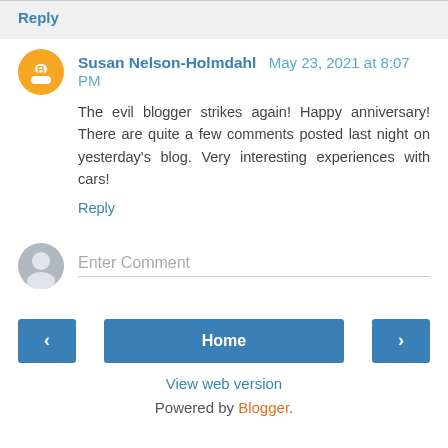Reply
Susan Nelson-Holmdahl May 23, 2021 at 8:07 PM
The evil blogger strikes again! Happy anniversary! There are quite a few comments posted last night on yesterday's blog. Very interesting experiences with cars!
Reply
Enter Comment
Home
View web version
Powered by Blogger.